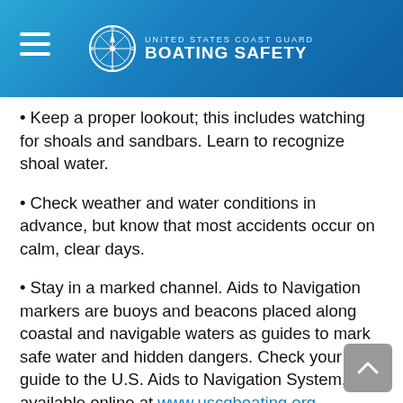UNITED STATES COAST GUARD BOATING SAFETY
Keep a proper lookout; this includes watching for shoals and sandbars. Learn to recognize shoal water.
Check weather and water conditions in advance, but know that most accidents occur on calm, clear days.
Stay in a marked channel. Aids to Navigation markers are buoys and beacons placed along coastal and navigable waters as guides to mark safe water and hidden dangers. Check your guide to the U.S. Aids to Navigation System, available online at www.uscgboating.org.
Storms and waves can sometimes move buoys out...